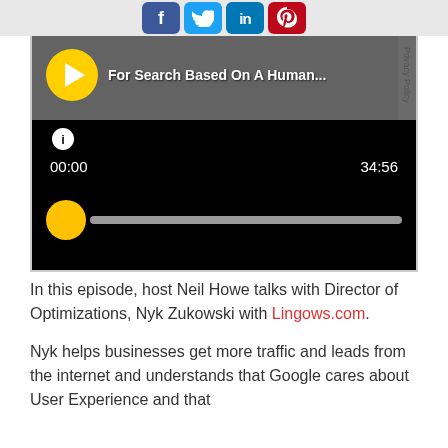[Figure (screenshot): Social media sharing bar with Facebook, Twitter, LinkedIn, and Pinterest icons]
[Figure (screenshot): Audio podcast player showing title 'For Search Based On A Human...' with play button, timestamp 00:00 / 34:56, and progress bar]
In this episode, host Neil Howe talks with Director of Optimizations, Nyk Zukowski with Lingows.com.
Nyk helps businesses get more traffic and leads from the internet and understands that Google cares about User Experience and that